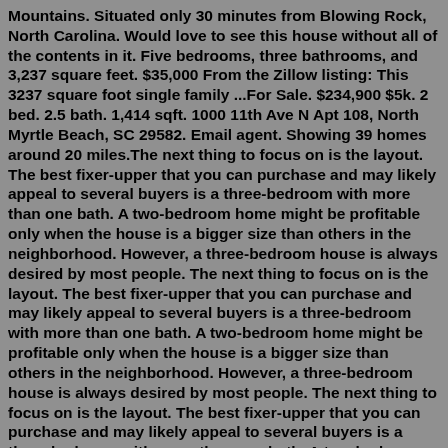Mountains. Situated only 30 minutes from Blowing Rock, North Carolina. Would love to see this house without all of the contents in it. Five bedrooms, three bathrooms, and 3,237 square feet. $35,000 From the Zillow listing: This 3237 square foot single family ...For Sale. $234,900 $5k. 2 bed. 2.5 bath. 1,414 sqft. 1000 11th Ave N Apt 108, North Myrtle Beach, SC 29582. Email agent. Showing 39 homes around 20 miles.The next thing to focus on is the layout. The best fixer-upper that you can purchase and may likely appeal to several buyers is a three-bedroom with more than one bath. A two-bedroom home might be profitable only when the house is a bigger size than others in the neighborhood. However, a three-bedroom house is always desired by most people. The next thing to focus on is the layout. The best fixer-upper that you can purchase and may likely appeal to several buyers is a three-bedroom with more than one bath. A two-bedroom home might be profitable only when the house is a bigger size than others in the neighborhood. However, a three-bedroom house is always desired by most people.